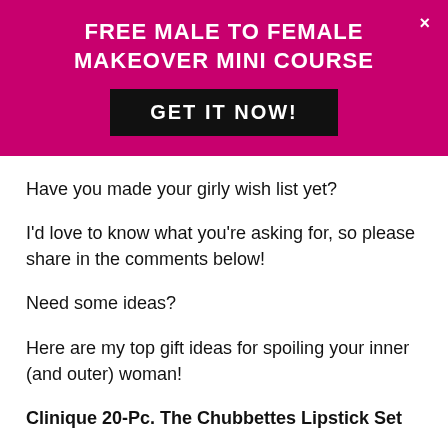FREE MALE TO FEMALE MAKEOVER MINI COURSE
GET IT NOW!
Have you made your girly wish list yet?
I'd love to know what you're asking for, so please share in the comments below!
Need some ideas?
Here are my top gift ideas for spoiling your inner (and outer) woman!
Clinique 20-Pc. The Chubbettes Lipstick Set